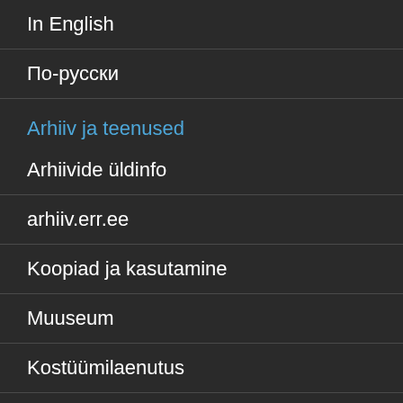In English
По-русски
Arhiiv ja teenused
Arhiivide üldinfo
arhiiv.err.ee
Koopiad ja kasutamine
Muuseum
Kostüümilaenutus
Tehnilised teenused
Helistuudiod